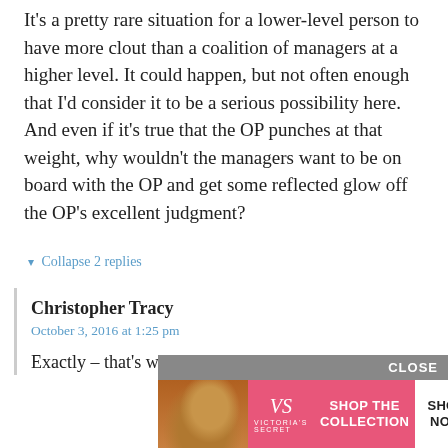It’s a pretty rare situation for a lower-level person to have more clout than a coalition of managers at a higher level. It could happen, but not often enough that I’d consider it to be a serious possibility here. And even if it’s true that the OP punches at that weight, why wouldn’t the managers want to be on board with the OP and get some reflected glow off the OP’s excellent judgment?
▾ Collapse 2 replies
Christopher Tracy
October 3, 2016 at 1:25 pm
Exactly – that’s why I’m going with cowardly.
[Figure (other): Victoria's Secret advertisement banner with CLOSE button. Pink background with model photo, VS logo, text 'SHOP THE COLLECTION', and 'SHOP NOW' button.]